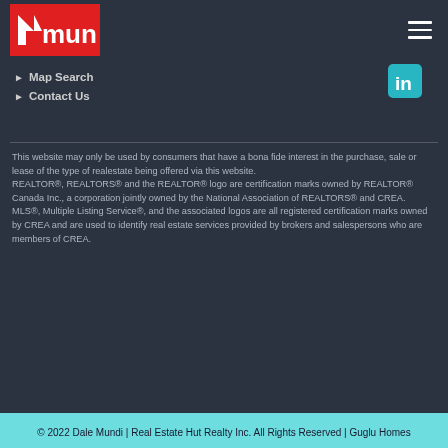[Figure (logo): Dale Mundi real estate logo — red background with white M arrow icon and 'mundi' text]
Map Search
Contact Us
[Figure (logo): LinkedIn icon — teal/cyan rounded square with 'in' text]
This website may only be used by consumers that have a bona fide interest in the purchase, sale or lease of the type of realestate being offered via this website.
REALTOR®, REALTORS® and the REALTOR® logo are certification marks owned by REALTOR® Canada Inc., a corporation jointly owned by the National Association of REALTORS® and CREA.
MLS®, Multiple Listing Service®, and the associated logos are all registered certification marks owned by CREA and are used to identify real estate services provided by brokers and salespersons who are members of CREA.
© 2022 Dale Mundi | Real Estate Hut Realty Inc. All Rights Reserved | Guglu Homes